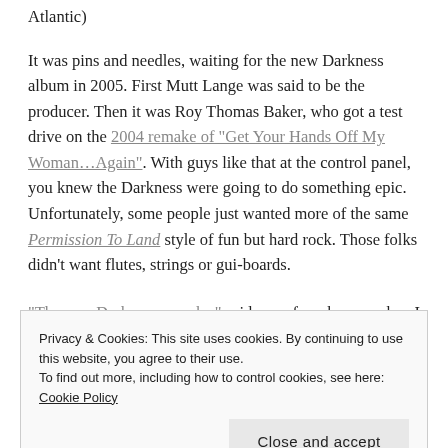Atlantic)
It was pins and needles, waiting for the new Darkness album in 2005. First Mutt Lange was said to be the producer. Then it was Roy Thomas Baker, who got a test drive on the 2004 remake of "Get Your Hands Off My Woman…Again". With guys like that at the control panel, you knew the Darkness were going to do something epic. Unfortunately, some people just wanted more of the same Permission To Land style of fun but hard rock. Those folks didn't want flutes, strings or gui-boards.
"The new Darkness…sucks," said one of my bosses when I walked in to work at the Record Store one afternoon in late December. We had just received our shipment. "In one song, all he does is sing, 'I love
Privacy & Cookies: This site uses cookies. By continuing to use this website, you agree to their use.
To find out more, including how to control cookies, see here: Cookie Policy
Close and accept